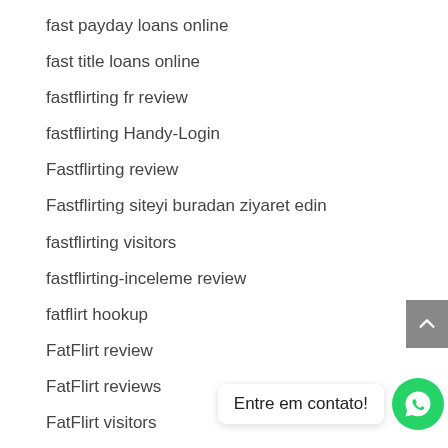fast payday loans online
fast title loans online
fastflirting fr review
fastflirting Handy-Login
Fastflirting review
Fastflirting siteyi buradan ziyaret edin
fastflirting visitors
fastflirting-inceleme review
fatflirt hookup
FatFlirt review
FatFlirt reviews
FatFlirt visitors
fatflirt-inceleme review